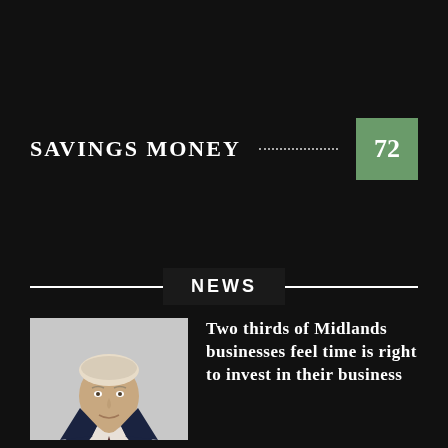SAVINGS MONEY 72
NEWS
[Figure (photo): Headshot of a middle-aged man in a dark suit and tie, smiling slightly, against a white background.]
Two thirds of Midlands businesses feel time is right to invest in their business